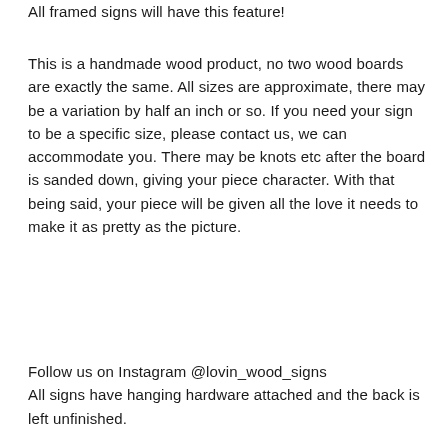All framed signs will have this feature!
This is a handmade wood product, no two wood boards are exactly the same. All sizes are approximate, there may be a variation by half an inch or so. If you need your sign to be a specific size, please contact us, we can accommodate you. There may be knots etc after the board is sanded down, giving your piece character. With that being said, your piece will be given all the love it needs to make it as pretty as the picture.
Follow us on Instagram @lovin_wood_signs
All signs have hanging hardware attached and the back is left unfinished.